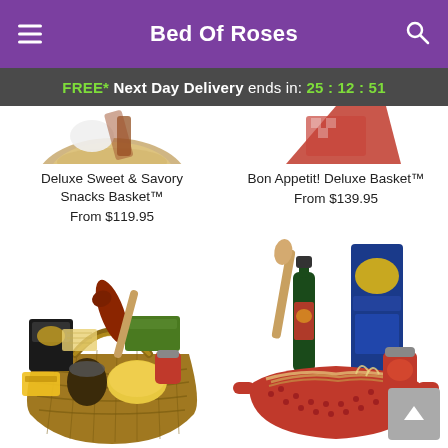Bed Of Roses
FREE* Next Day Delivery ends in: 25:12:51
[Figure (photo): Partial top view of a gift basket with wicker and a red patterned item, cropped at top]
Deluxe Sweet & Savory Snacks Basket™
From $119.95
Bon Appetit! Deluxe Basket™
From $139.95
[Figure (photo): A large wicker basket filled with assorted cheeses, meats, crackers and snacks]
[Figure (photo): A red colander bowl filled with olive oil bottle, pasta box, wooden spoon, sauce jar and crackers]